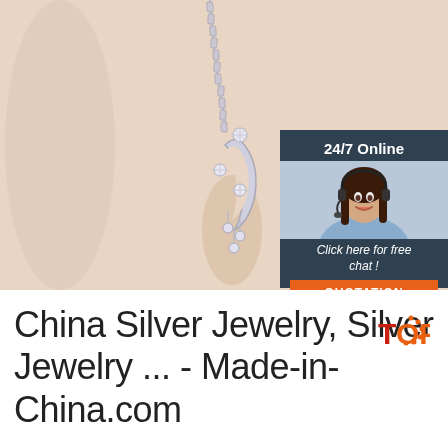[Figure (photo): Silver moon and star pendant necklace on a peach/beige background. The necklace chain hangs from the top and the pendant features a crescent moon with star/crystal accents.]
[Figure (infographic): 24/7 Online chat widget with a smiling female customer service representative wearing a headset, text 'Click here for free chat!' and an orange QUOTATION button.]
China Silver Jewelry, Silver Jewelry ... - Made-in-China.com
[Figure (logo): TOP logo with orange dot-circle design, orange text 'TOP' with red 'T']